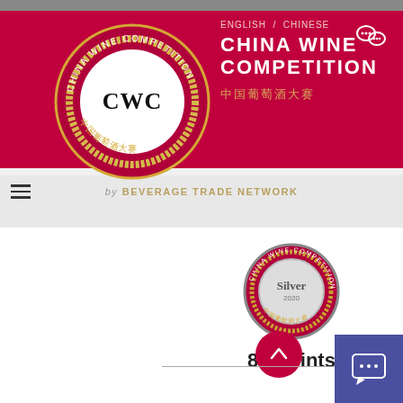[Figure (logo): China Wine Competition (CWC) circular badge logo with gold laurel wreath on crimson background, white center circle with CWC text, Chinese characters around the border]
ENGLISH / CHINESE
CHINA WINE COMPETITION
中国葡萄酒大赛
[Figure (logo): WeChat social media icon in white]
by BEVERAGE TRADE NETWORK
[Figure (logo): China Wine Competition Silver 2020 medal badge]
87 Points
[Figure (other): Round crimson scroll-to-top button with upward arrow]
[Figure (other): Purple/indigo chat widget button with speech bubble icon containing ellipsis]